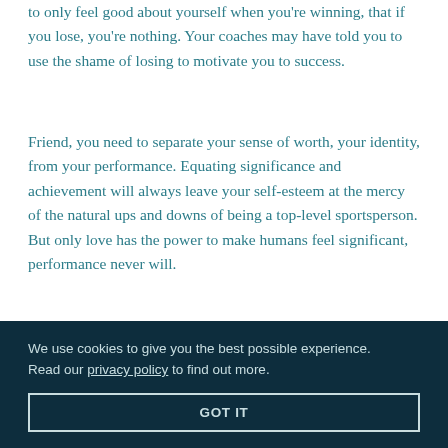to only feel good about yourself when you're winning, that if you lose, you're nothing. Your coaches may have told you to use the shame of losing to motivate you to success.
Friend, you need to separate your sense of worth, your identity, from your performance. Equating significance and achievement will always leave your self-esteem at the mercy of the natural ups and downs of being a top-level sportsperson. But only love has the power to make humans feel significant, performance never will.
The good news of the gospel is that in God, you have unconditional love, not based on any of your performance.
...of the talents you have or the way you compete. You are valued and loved continuously. It isn't dependent on your success or ability to compete. It is sure and steady and unchanging.
We use cookies to give you the best possible experience. Read our privacy policy to find out more.
GOT IT